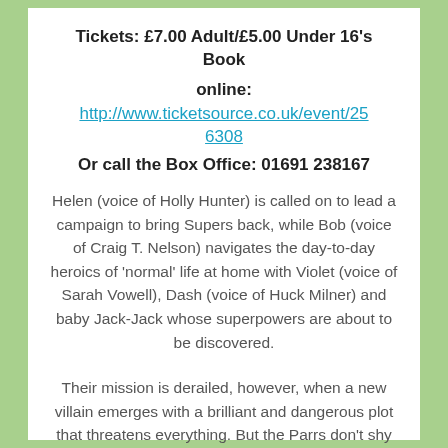Tickets: £7.00 Adult/£5.00 Under 16's Book
online: http://www.ticketsource.co.uk/event/256308
Or call the Box Office: 01691 238167
Helen (voice of Holly Hunter) is called on to lead a campaign to bring Supers back, while Bob (voice of Craig T. Nelson) navigates the day-to-day heroics of 'normal' life at home with Violet (voice of Sarah Vowell), Dash (voice of Huck Milner) and baby Jack-Jack whose superpowers are about to be discovered.
Their mission is derailed, however, when a new villain emerges with a brilliant and dangerous plot that threatens everything. But the Parrs don't shy away from a challenge,